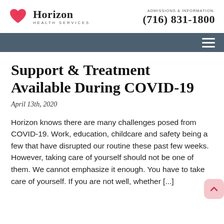Horizon Health Services | ADMISSIONS & INFORMATION: (716) 831-1800
Support & Treatment Available During COVID-19
April 13th, 2020
Horizon knows there are many challenges posed from COVID-19. Work, education, childcare and safety being a few that have disrupted our routine these past few weeks. However, taking care of yourself should not be one of them. We cannot emphasize it enough. You have to take care of yourself. If you are not well, whether [...]